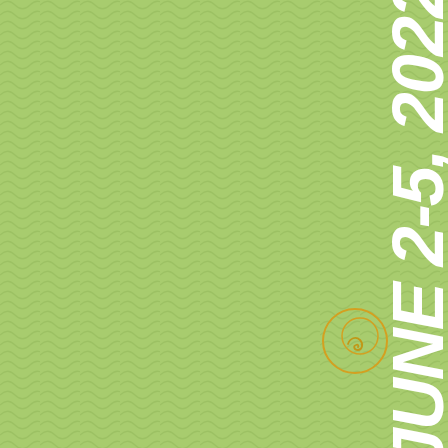[Figure (illustration): Green wavy-textured background covering the full page]
JUNE 2-5, 2022
[Figure (logo): Small circular logo with a spiral/wave mark, outlined in gold/yellow on green background]